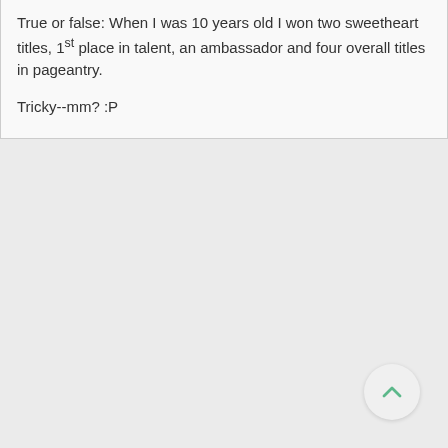True or false: When I was 10 years old I won two sweetheart titles, 1st place in talent, an ambassador and four overall titles in pageantry.

Tricky--mm? :P